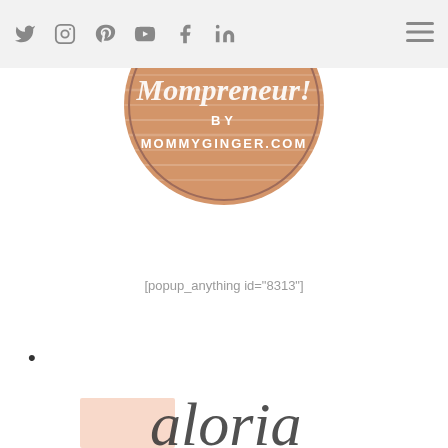Social media navigation icons and hamburger menu
[Figure (logo): Circular logo with tan/peach wood-grain background. Text reads 'Mompreneur!' in cursive script, 'BY' in small caps, 'MOMMYGINGER.COM' in white uppercase letters. Brown circle border.]
[popup_anything id="8313"]
•
[Figure (photo): Partial view of a handwritten-style cursive text, cut off at the bottom of the page. A small peach/salmon rectangle is visible at bottom left.]